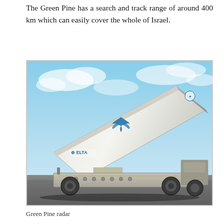The Green Pine has a search and track range of around 400 km which can easily cover the whole of Israel.
[Figure (photo): Photograph of the IAI Elta Green Pine radar system — a large flat rectangular phased-array antenna panel mounted on a wheeled vehicle/trailer, tilted upward at an angle. The panel is white/off-white with a blue IAI bird logo in the center and an Elta logo badge on the lower left. The sky background shows blue sky with light clouds.]
Green Pine radar